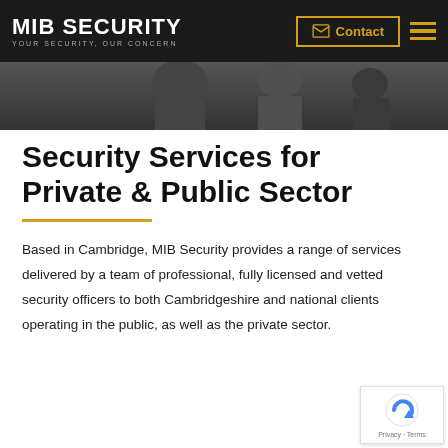MIB SECURITY — YOUR SECURITY, OUR CONCERN | Contact
[Figure (photo): Grayscale hero image showing security officers in the background]
Security Services for Private & Public Sector
Based in Cambridge, MIB Security provides a range of services delivered by a team of professional, fully licensed and vetted security officers to both Cambridgeshire and national clients operating in the public, as well as the private sector.
[Figure (logo): Google reCAPTCHA badge with Privacy and Terms links]